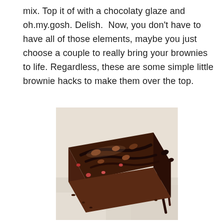mix. Top it of with a chocolaty glaze and oh.my.gosh. Delish.  Now, you don't have to have all of those elements, maybe you just choose a couple to really bring your brownies to life. Regardless, these are some simple little brownie hacks to make them over the top.
[Figure (photo): Close-up photo of a rich chocolate brownie with nuts and glossy chocolate glaze, placed on white parchment paper with chocolate drizzle.]